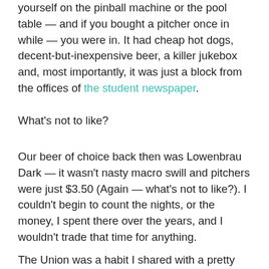yourself on the pinball machine or the pool table — and if you bought a pitcher once in while — you were in. It had cheap hot dogs, decent-but-inexpensive beer, a killer jukebox and, most importantly, it was just a block from the offices of the student newspaper.
What's not to like?
Our beer of choice back then was Lowenbrau Dark — it wasn't nasty macro swill and pitchers were just $3.50 (Again — what's not to like?). I couldn't begin to count the nights, or the money, I spent there over the years, and I wouldn't trade that time for anything.
The Union was a habit I shared with a pretty good